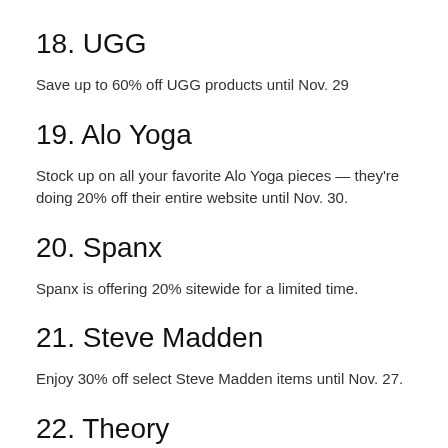18. UGG
Save up to 60% off UGG products until Nov. 29
19. Alo Yoga
Stock up on all your favorite Alo Yoga pieces — they're doing 20% off their entire website until Nov. 30.
20. Spanx
Spanx is offering 20% sitewide for a limited time.
21. Steve Madden
Enjoy 30% off select Steve Madden items until Nov. 27.
22. Theory